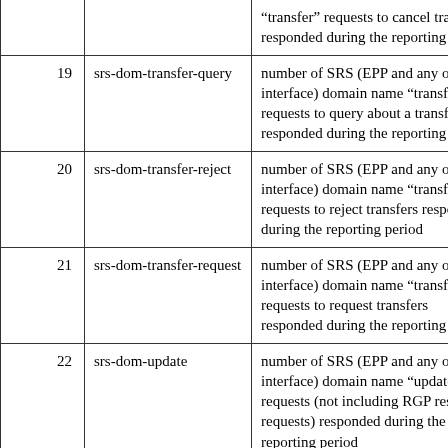| # | Name | Description |
| --- | --- | --- |
|  |  | “transfer” requests to cancel transfers responded during the reporting period |
| 19 | srs-dom-transfer-query | number of SRS (EPP and any other interface) domain name “transfer” requests to query about a transfer responded during the reporting period |
| 20 | srs-dom-transfer-reject | number of SRS (EPP and any other interface) domain name “transfer” requests to reject transfers responded during the reporting period |
| 21 | srs-dom-transfer-request | number of SRS (EPP and any other interface) domain name “transfer” requests to request transfers responded during the reporting period |
| 22 | srs-dom-update | number of SRS (EPP and any other interface) domain name “update” requests (not including RGP restore requests) responded during the reporting period |